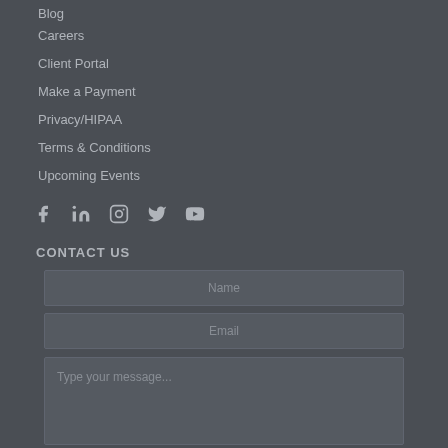Blog
Careers
Client Portal
Make a Payment
Privacy/HIPAA
Terms & Conditions
Upcoming Events
[Figure (infographic): Row of social media icons: Facebook, LinkedIn, Instagram, Twitter, YouTube]
CONTACT US
Name
Email
Type your message...